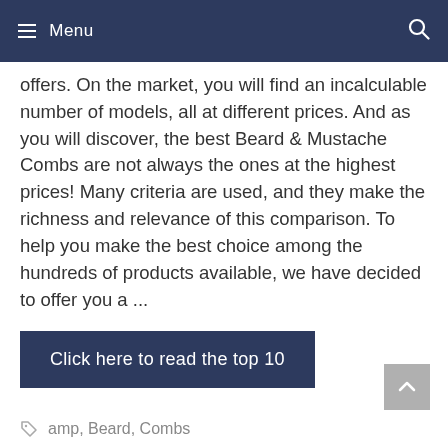≡ Menu
offers. On the market, you will find an incalculable number of models, all at different prices. And as you will discover, the best Beard & Mustache Combs are not always the ones at the highest prices! Many criteria are used, and they make the richness and relevance of this comparison. To help you make the best choice among the hundreds of products available, we have decided to offer you a ...
Click here to read the top 10
amp, Beard, Combs